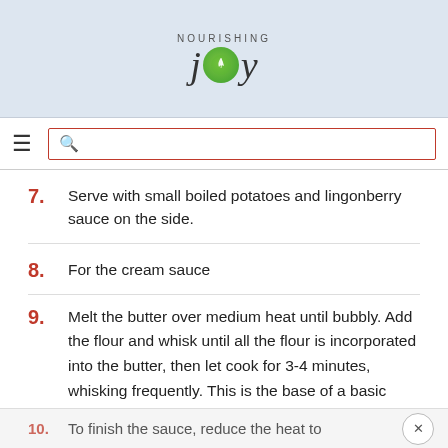NOURISHING joy
7. Serve with small boiled potatoes and lingonberry sauce on the side.
8. For the cream sauce
9. Melt the butter over medium heat until bubbly. Add the flour and whisk until all the flour is incorporated into the butter, then let cook for 3-4 minutes, whisking frequently. This is the base of a basic roux.
10. To finish the sauce, reduce the heat to